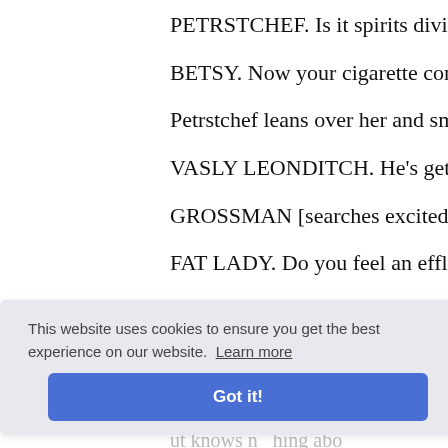PETRSTCHEF. Is it spirits divine, or sp
BETSY. Now your cigarette comes in h
Petrstchef leans over her and smokes at
VASLY LEONDITCH. He's getting nea
GROSSMAN [searches excitedly round
FAT LADY. Do you feel an effluence? [
ALL. Bravo! [General enthusiasm].
So that's w
ou, yes!
? I didn't
ut knows n   hing abo
knew he came here for no go   d. "Wher
witness! [Crosses himself] I didn't take